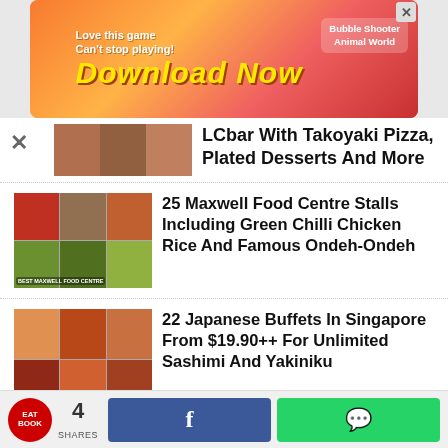[Figure (screenshot): Mobile game advertisement banner - 'Love this game Can't stop playing! Download Now - Bubble Shooter Animal World']
LCbar With Takoyaki Pizza, Plated Desserts And More
25 Maxwell Food Centre Stalls Including Green Chilli Chicken Rice And Famous Ondeh-Ondeh
22 Japanese Buffets In Singapore From $19.90++ For Unlimited Sashimi And Yakiniku
Ding Garden Buffet: $32.90++ Unlimited Grilled Fish And BBQ Hotpot Buffet In Chinatown, Opens Till 11:30PM
4 SHARES | Facebook share | WhatsApp share